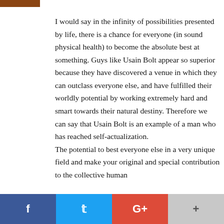[Figure (logo): Small brown/orange horizontal logo bar in top left corner]
I would say in the infinity of possibilities presented by life, there is a chance for everyone (in sound physical health) to become the absolute best at something. Guys like Usain Bolt appear so superior because they have discovered a venue in which they can outclass everyone else, and have fulfilled their worldly potential by working extremely hard and smart towards their natural destiny. Therefore we can say that Usain Bolt is an example of a man who has reached self-actualization. The potential to best everyone else in a very unique field and make your original and special contribution to the collective human
[Figure (infographic): Social sharing bar at bottom with four buttons: Facebook (blue), Twitter (light blue), Google+ (red), and a plus/more button (grey)]